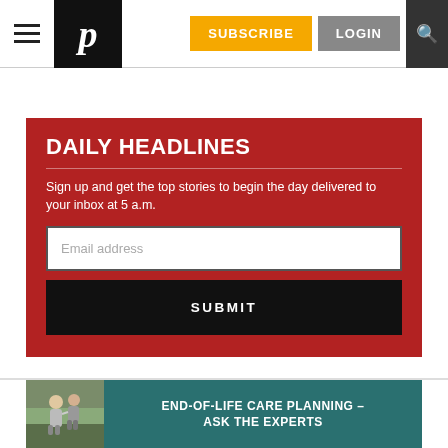Navigation bar with hamburger menu, P logo, SUBSCRIBE and LOGIN buttons, search icon
DAILY HEADLINES
Sign up and get the top stories to begin the day delivered to your inbox at 5 a.m.
[Figure (screenshot): Email address input field]
[Figure (screenshot): SUBMIT button]
[Figure (infographic): Ad banner: END-OF-LIFE CARE PLANNING - ASK THE EXPERTS with photo of elderly couple and teal background]